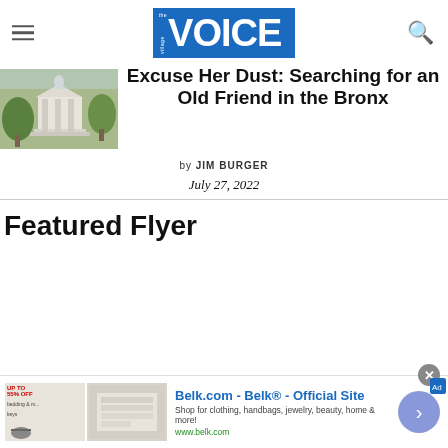the village VOICE
Excuse Her Dust: Searching for an Old Friend in the Bronx
by JIM BURGER
July 27, 2022
Featured Flyer
[Figure (other): Advertisement: Belk.com - Belk® - Official Site. Shop for clothing, handbags, jewelry, beauty, home & more! www.belk.com]